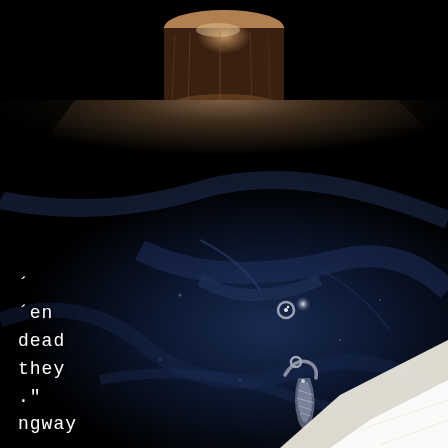[Figure (photo): Dark, moody photograph showing a deep navy/dark blue velvet fabric with shimmering metalwork jewelry pieces (rings and a pendant), illuminated from above by a warm bronze/copper cylindrical object at the top. Small specks of light glint off the fabric and pieces. The lower right corner has a bright white triangular highlight. Overall image is very dark/black with the blue velvet fabric as the central element.]
´
´en
dead
they
."
ngway